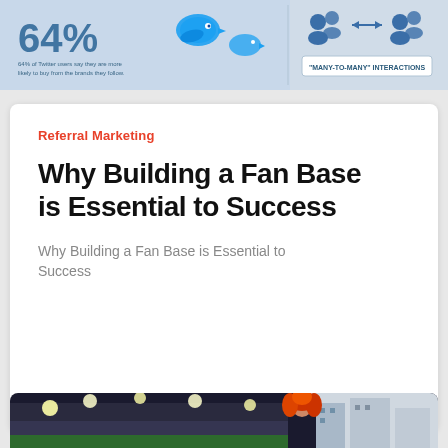[Figure (infographic): Top partial infographic showing '64%' text and Twitter bird icons on left, and people/interaction icons with 'MANY-TO-MANY INTERACTIONS' text on right]
Referral Marketing
Why Building a Fan Base is Essential to Success
Why Building a Fan Base is Essential to Success
Jeff Epstein
Jan 20, 2021
[Figure (photo): Bottom partial photo showing a stadium and a person with orange/red hair, partially visible]